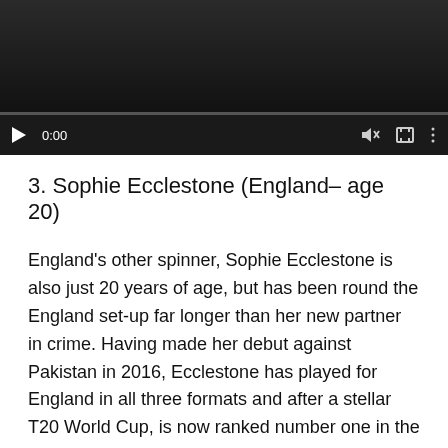[Figure (screenshot): Video player with dark background showing playback controls: play button, time '0:00', mute icon, fullscreen icon, more options icon, and a progress bar.]
3. Sophie Ecclestone (England– age 20)
England's other spinner, Sophie Ecclestone is also just 20 years of age, but has been round the England set-up far longer than her new partner in crime. Having made her debut against Pakistan in 2016, Ecclestone has played for England in all three formats and after a stellar T20 World Cup, is now ranked number one in the ICC T20 bowling rankings. Named as the emerging player of the year in 2018, Ecclestone has now claimed 100 wickets in international cricket. Together with